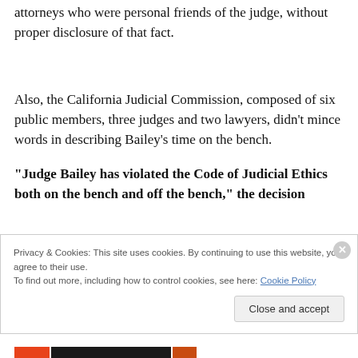attorneys who were personal friends of the judge, without proper disclosure of that fact.
Also, the California Judicial Commission, composed of six public members, three judges and two lawyers, didn't mince words in describing Bailey's time on the bench.
“Judge Bailey has violated the Code of Judicial Ethics both on the bench and off the bench,” the decision
Privacy & Cookies: This site uses cookies. By continuing to use this website, you agree to their use.
To find out more, including how to control cookies, see here: Cookie Policy